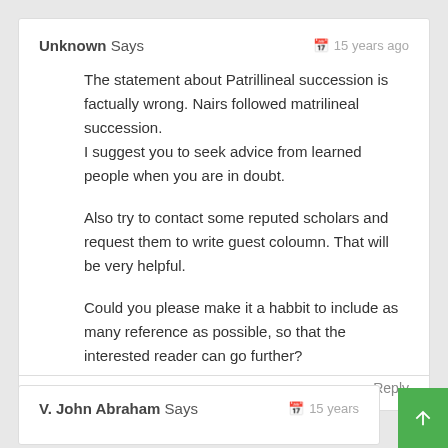Unknown Says — 15 years ago
The statement about Patrillineal succession is factually wrong. Nairs followed matrilineal succession.
I suggest you to seek advice from learned people when you are in doubt.
Also try to contact some reputed scholars and request them to write guest coloumn. That will be very helpful.
Could you please make it a habbit to include as many reference as possible, so that the interested reader can go further?
↩ Reply
V. John Abraham Says — 15 years